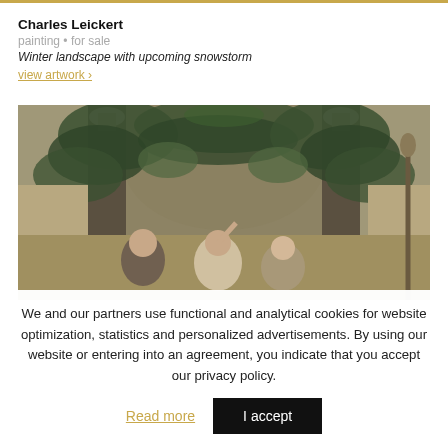Charles Leickert
painting • for sale
Winter landscape with upcoming snowstorm
view artwork >
[Figure (photo): Detail of a classical painting showing figures near an arched garden gate with lush ivy and ornamental urns on stone pillars; a man and women visible in the lower portion.]
We and our partners use functional and analytical cookies for website optimization, statistics and personalized advertisements. By using our website or entering into an agreement, you indicate that you accept our privacy policy.
Read more
I accept